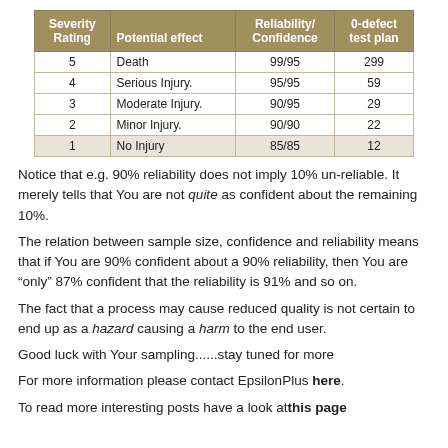| Severity Rating | Potential effect | Reliability/ Confidence | 0-defect test plan |
| --- | --- | --- | --- |
| 5 | Death | 99/95 | 299 |
| 4 | Serious Injury. | 95/95 | 59 |
| 3 | Moderate Injury. | 90/95 | 29 |
| 2 | Minor Injury. | 90/90 | 22 |
| 1 | No Injury | 85/85 | 12 |
Notice that e.g. 90% reliability does not imply 10% un-reliable. It merely tells that You are not quite as confident about the remaining 10%.
The relation between sample size, confidence and reliability means that if You are 90% confident about a 90% reliability, then You are “only” 87% confident that the reliability is 91% and so on.
The fact that a process may cause reduced quality is not certain to end up as a hazard causing a harm to the end user.
Good luck with Your sampling......stay tuned for more
For more information please contact EpsilonPlus here.
To read more interesting posts have a look at this page